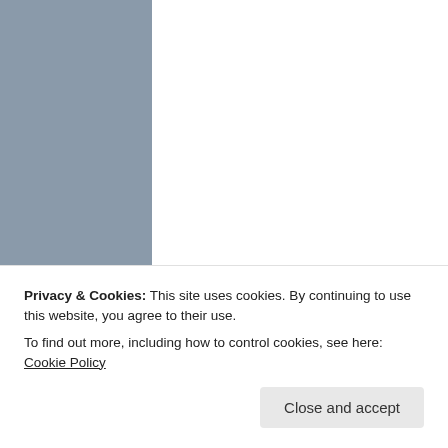[Figure (other): Advertisement banner with dark background and teal 'Learn More' button]
REPORT THIS AD
SEARCH
Search …
META
Register
Log in
Entries feed
Comments feed
Privacy & Cookies: This site uses cookies. By continuing to use this website, you agree to their use.
To find out more, including how to control cookies, see here: Cookie Policy
Close and accept